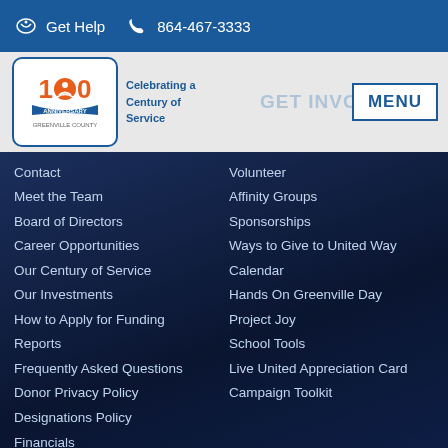Get Help  864-467-3333
[Figure (logo): United Way 100th Anniversary logo with '100 Anniversary' badge and tagline 'Celebrating a Century of Service']
Contact
Meet the Team
Board of Directors
Career Opportunities
Our Century of Service
Our Investments
How to Apply for Funding
Reports
Frequently Asked Questions
Donor Privacy Policy
Designations Policy
Financials
Mission & Vision
Our Commitment to Diversity,
Volunteer
Affinity Groups
Sponsorships
Ways to Give to United Way
Calendar
Hands On Greenville Day
Project Joy
School Tools
Live United Appreciation Card
Campaign Toolkit